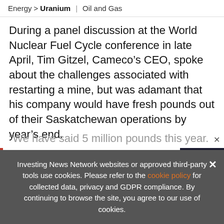Energy > Uranium | Oil and Gas
During a panel discussion at the World Nuclear Fuel Cycle conference in late April, Tim Gitzel, Cameco’s CEO, spoke about the challenges associated with restarting a mine, but was adamant that his company would have fresh pounds out of their Saskatchewan operations by year’s end.
“We have said 5 million pounds this year. We’re hoping to beat that,” he told And
[Figure (screenshot): Advertisement banner: UPDATED! 2022 Uranium Outlook Report. TOP URANIUM Stocks, Trends, Expert Forecasts. INN logo. Uranium Outlook 2022 book cover image.]
Investing News Network websites or approved third-party tools use cookies. Please refer to the cookie policy for collected data, privacy and GDPR compliance. By continuing to browse the site, you agree to our use of cookies.